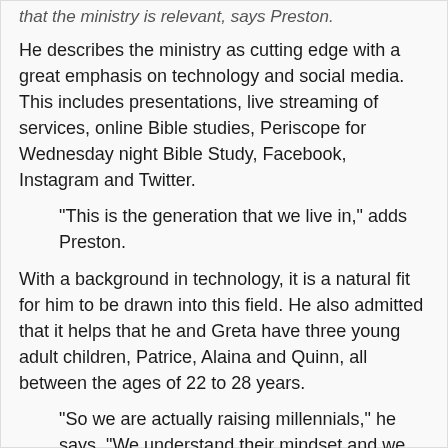that the ministry is relevant, says Preston.
He describes the ministry as cutting edge with a great emphasis on technology and social media. This includes presentations, live streaming of services, online Bible studies, Periscope for Wednesday night Bible Study, Facebook, Instagram and Twitter.
“This is the generation that we live in,” adds Preston.
With a background in technology, it is a natural fit for him to be drawn into this field. He also admitted that it helps that he and Greta have three young adult children, Patrice, Alaina and Quinn, all between the ages of 22 to 28 years.
“So we are actually raising millennials,” he says. “We understand their mindset and we know how to relate to them.”
Preston and Greta Adams minister also extends into the community.